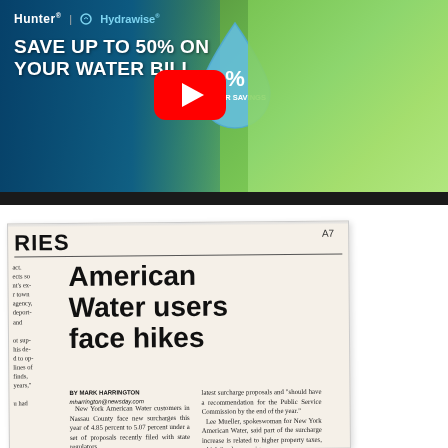[Figure (screenshot): Hunter Hydrawise advertisement: 'SAVE UP TO 50% ON YOUR WATER BILL' with YouTube play button overlay, water drop graphic showing water savings percentage, and background showing couple with dog on lawn]
[Figure (photo): Scanned newspaper clipping showing article titled 'American Water users face hikes' by Mark Harrington, with section labeled 'RIES' and page number A7. Article discusses New York American Water customers in Nassau County facing new surcharges of 4.85 percent to 5.07 percent.]